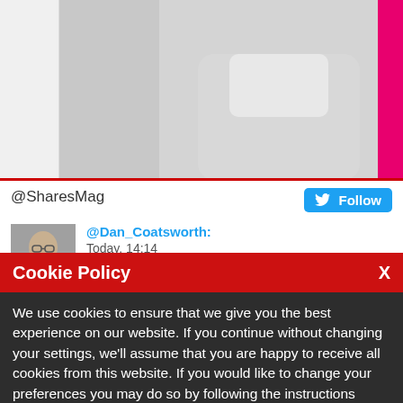[Figure (photo): Black and white photo of a person with arms crossed, with pink/magenta background accents on left and right sides. Only the torso and crossed arms are visible.]
@SharesMag
[Figure (illustration): Blue Twitter Follow button with bird icon]
[Figure (photo): Avatar/profile photo of Dan Coatsworth, a man in a suit]
@Dan_Coatsworth:
Today, 14:14
Revolution Beauty down another 44% today after warning
Cookie Policy
We use cookies to ensure that we give you the best experience on our website. If you continue without changing your settings, we'll assume that you are happy to receive all cookies from this website. If you would like to change your preferences you may do so by following the instructions here.